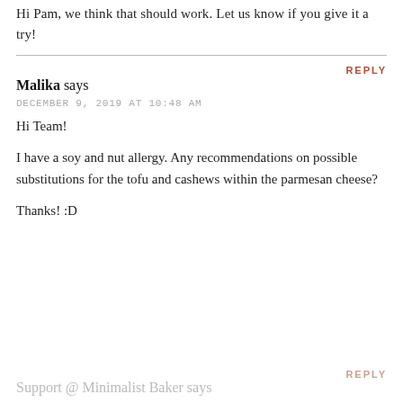Hi Pam, we think that should work. Let us know if you give it a try!
REPLY
Malika says
DECEMBER 9, 2019 AT 10:48 AM
Hi Team!

I have a soy and nut allergy. Any recommendations on possible substitutions for the tofu and cashews within the parmesan cheese?

Thanks! :D
REPLY
Support @ Minimalist Baker says